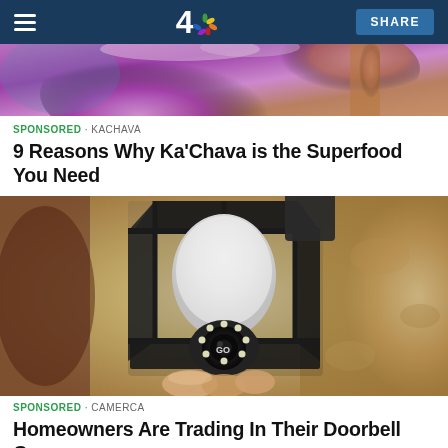NBC 4 — SHARE
[Figure (photo): Partial top view of a purple smoothie drink]
SPONSORED · KACHAVA
9 Reasons Why Ka'Chava is the Superfood You Need
[Figure (photo): A camera security bulb being installed into an outdoor lantern-style wall lamp fixture mounted on a stucco wall]
SPONSORED · CAMERCA
Homeowners Are Trading In Their Doorbell Cams